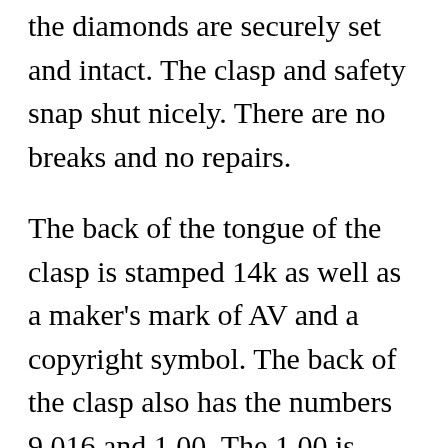the diamonds are securely set and intact. The clasp and safety snap shut nicely. There are no breaks and no repairs.
The back of the tongue of the clasp is stamped 14k as well as a maker's mark of AV and a copyright symbol. The back of the clasp also has the numbers 9.016 and 1.00. The 1.00 is likely regarding the carat weight in diamonds. We don't know the opinions of the other...